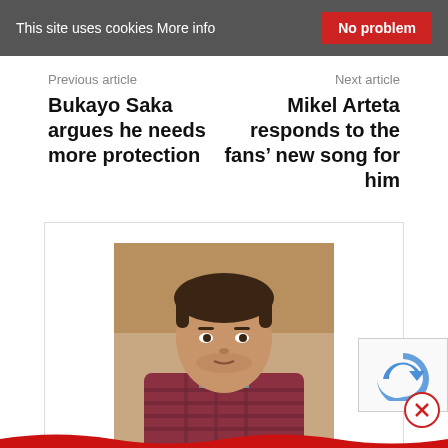This site uses cookies More info | No problem
Previous article
Bukayo Saka argues he needs more protection
Next article
Mikel Arteta responds to the fans’ new song for him
[Figure (photo): Author photo of Dan Critchlow, a young man in a plaid shirt]
Dan Critchlow
Arsenal fan since a young age, now a season ticket holder who enjoys writing, tweeting and making videos about the Gunne